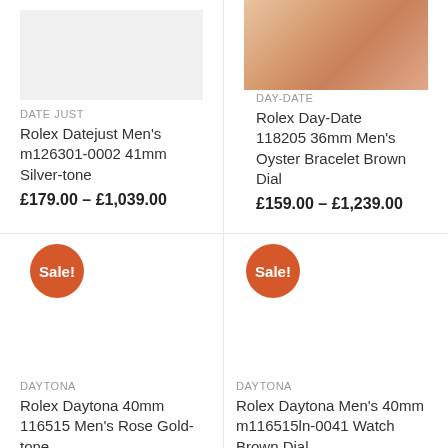[Figure (photo): Partial product image area for Rolex Datejust (top, cropped)]
DATE JUST
Rolex Datejust Men's m126301-0002 41mm Silver-tone
£179.00 – £1,039.00
[Figure (photo): Rose gold Rolex Day-Date watch bracelet close-up]
DAY-DATE
Rolex Day-Date 118205 36mm Men's Oyster Bracelet Brown Dial
£159.00 – £1,239.00
[Figure (photo): Sale badge and product image for Rolex Daytona 40mm 116515 Men's Rose Gold-tone]
DAYTONA
Rolex Daytona 40mm 116515 Men's Rose Gold-tone
£129.00 – £1,239.00
[Figure (photo): Sale badge and product image for Rolex Daytona Men's 40mm m116515ln-0041 Watch Brown Dial]
DAYTONA
Rolex Daytona Men's 40mm m116515ln-0041 Watch Brown Dial